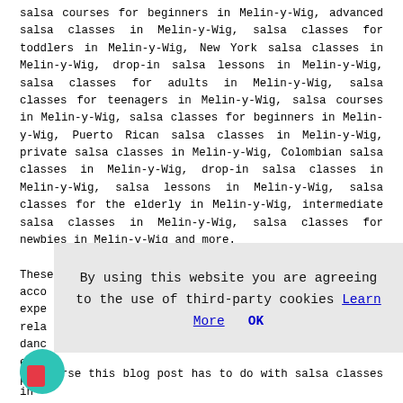salsa courses for beginners in Melin-y-Wig, advanced salsa classes in Melin-y-Wig, salsa classes for toddlers in Melin-y-Wig, New York salsa classes in Melin-y-Wig, drop-in salsa lessons in Melin-y-Wig, salsa classes for adults in Melin-y-Wig, salsa classes for teenagers in Melin-y-Wig, salsa courses in Melin-y-Wig, salsa classes for beginners in Melin-y-Wig, Puerto Rican salsa classes in Melin-y-Wig, private salsa classes in Melin-y-Wig, Colombian salsa classes in Melin-y-Wig, drop-in salsa classes in Melin-y-Wig, salsa lessons in Melin-y-Wig, salsa classes for the elderly in Melin-y-Wig, intermediate salsa classes in Melin-y-Wig, salsa classes for newbies in Melin-y-Wig and more.
These are just an example of the activities that are acco[untable]... expe[rience]... rela[ted]... danc[ing]... enqu[iries]... pro[vided]...
[Figure (other): Cookie consent overlay: 'By using this website you are agreeing to the use of third-party cookies Learn More OK']
Of course this blog post has to do with salsa classes in